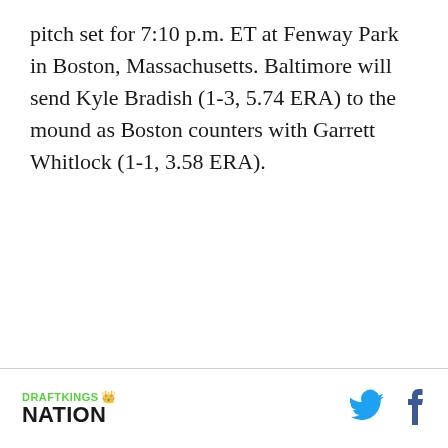pitch set for 7:10 p.m. ET at Fenway Park in Boston, Massachusetts. Baltimore will send Kyle Bradish (1-3, 5.74 ERA) to the mound as Boston counters with Garrett Whitlock (1-1, 3.58 ERA).
DRAFTKINGS NATION